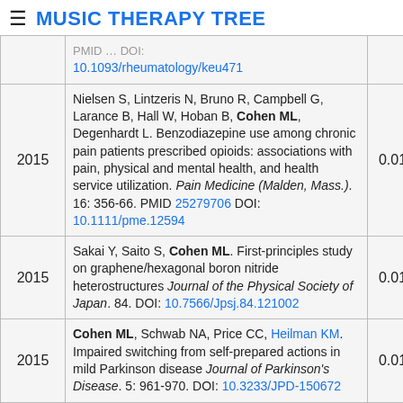MUSIC THERAPY TREE
| Year | Reference | Score |  |
| --- | --- | --- | --- |
|  | PMID … DOI: 10.1093/rheumatology/keu471 |  |  |
| 2015 | Nielsen S, Lintzeris N, Bruno R, Campbell G, Larance B, Hall W, Hoban B, Cohen ML, Degenhardt L. Benzodiazepine use among chronic pain patients prescribed opioids: associations with pain, physical and mental health, and health service utilization. Pain Medicine (Malden, Mass.). 16: 356-66. PMID 25279706 DOI: 10.1111/pme.12594 | 0.01 |  |
| 2015 | Sakai Y, Saito S, Cohen ML. First-principles study on graphene/hexagonal boron nitride heterostructures Journal of the Physical Society of Japan. 84. DOI: 10.7566/Jpsj.84.121002 | 0.01 |  |
| 2015 | Cohen ML, Schwab NA, Price CC, Heilman KM. Impaired switching from self-prepared actions in mild Parkinson disease Journal of Parkinson's Disease. 5: 961-970. DOI: 10.3233/JPD-150672 | 0.01 |  |